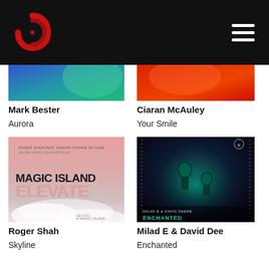[Figure (logo): Red swirl/vortex logo on black navigation bar]
[Figure (photo): Top-left album art: blue-green gradient abstract]
[Figure (photo): Top-right album art: red/orange gradient abstract]
Mark Bester
Ciaran McAuley
Aurora
Your Smile
[Figure (photo): Bottom-left album art: Magic Island Elevate - Roger Shah feat. Adrina Thorpe Skyline. Pink/rose gradient with large bold text MAGIC ISLAND ELEVATE]
[Figure (photo): Bottom-right album art: Milad E & David Deere Enchanted - dark purple/teal with alien-like figures]
Roger Shah
Milad E & David Dee
Skyline
Enchanted